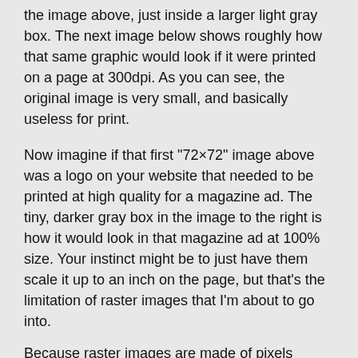the image above, just inside a larger light gray box. The next image below shows roughly how that same graphic would look if it were printed on a page at 300dpi. As you can see, the original image is very small, and basically useless for print.
Now imagine if that first "72×72" image above was a logo on your website that needed to be printed at high quality for a magazine ad. The tiny, darker gray box in the image to the right is how it would look in that magazine ad at 100% size. Your instinct might be to just have them scale it up to an inch on the page, but that's the limitation of raster images that I'm about to go into.
Because raster images are made of pixels they're labeled “resolution dependent”: they're meant to be used at the size they're created, or smaller. Higher resolutions lead to larger file sizes because every pixel has to contain a value for its color (RGB for screen, CMYK for print), X/Y